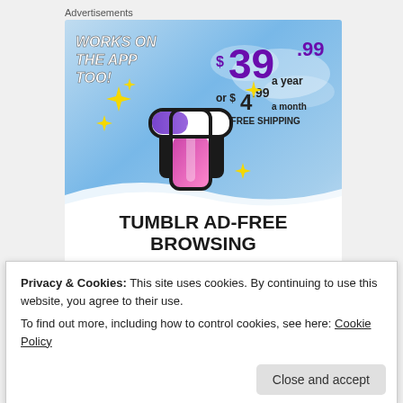Advertisements
[Figure (illustration): Tumblr Ad-Free Browsing advertisement banner. Shows Tumblr 't' logo with sparkles on a blue sky background. Text: WORKS ON THE APP TOO!, $39.99 a year or $4.99 a month + FREE SHIPPING, TUMBLR AD-FREE BROWSING.]
Privacy & Cookies: This site uses cookies. By continuing to use this website, you agree to their use.
To find out more, including how to control cookies, see here: Cookie Policy
Close and accept
4 bloggers like this